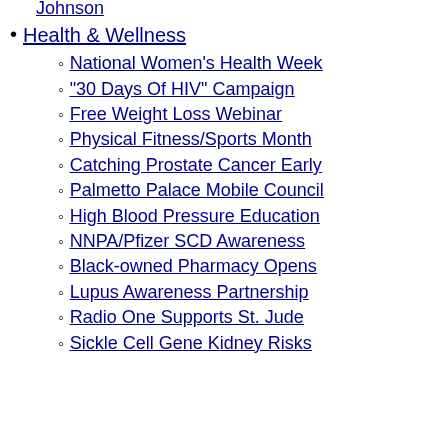Johnson (partial, clipped at top)
Health & Wellness
National Women's Health Week
"30 Days Of HIV" Campaign
Free Weight Loss Webinar
Physical Fitness/Sports Month
Catching Prostate Cancer Early
Palmetto Palace Mobile Council
High Blood Pressure Education
NNPA/Pfizer SCD Awareness
Black-owned Pharmacy Opens
Lupus Awareness Partnership
Radio One Supports St. Jude
Sickle Cell Gene Kidney Risks (partial)